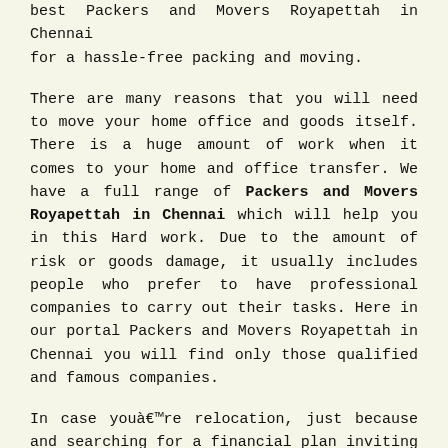best Packers and Movers Royapettah in Chennai for a hassle-free packing and moving.
There are many reasons that you will need to move your home office and goods itself. There is a huge amount of work when it comes to your home and office transfer. We have a full range of Packers and Movers Royapettah in Chennai which will help you in this Hard work. Due to the amount of risk or goods damage, it usually includes people who prefer to have professional companies to carry out their tasks. Here in our portal Packers and Movers Royapettah in Chennai you will find only those qualified and famous companies.
In case you're relocation, just because and searching for a financial plan inviting alternative to move your products or any goods, Unicon Packers recommend the benefits of hiring Packers and Movers Royapettah in Chennai. We are very brave to assist you with finding perfect moving experts